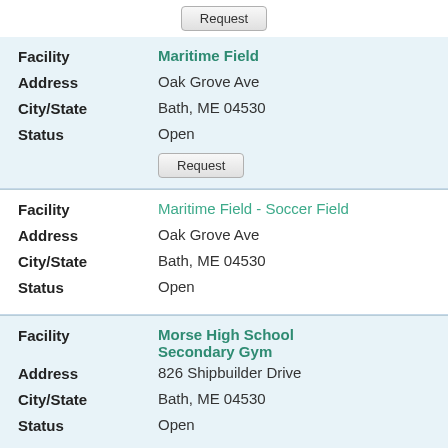Request
| Field | Value |
| --- | --- |
| Facility | Maritime Field |
| Address | Oak Grove Ave |
| City/State | Bath, ME 04530 |
| Status | Open |
Request
| Field | Value |
| --- | --- |
| Facility | Maritime Field - Soccer Field |
| Address | Oak Grove Ave |
| City/State | Bath, ME 04530 |
| Status | Open |
| Field | Value |
| --- | --- |
| Facility | Morse High School Secondary Gym |
| Address | 826 Shipbuilder Drive |
| City/State | Bath, ME 04530 |
| Status | Open |